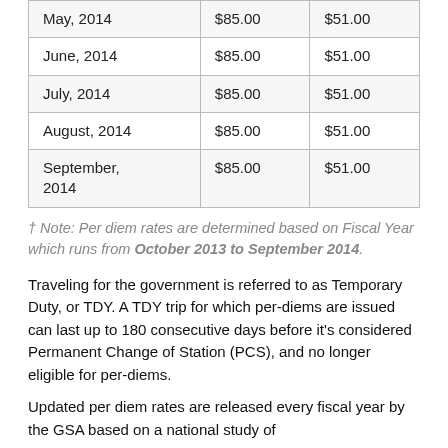| May, 2014 | $85.00 | $51.00 |
| June, 2014 | $85.00 | $51.00 |
| July, 2014 | $85.00 | $51.00 |
| August, 2014 | $85.00 | $51.00 |
| September, 2014 | $85.00 | $51.00 |
† Note: Per diem rates are determined based on Fiscal Year which runs from October 2013 to September 2014.
Traveling for the government is referred to as Temporary Duty, or TDY. A TDY trip for which per-diems are issued can last up to 180 consecutive days before it's considered Permanent Change of Station (PCS), and no longer eligible for per-diems.
Updated per diem rates are released every fiscal year by the GSA based on a national study of...